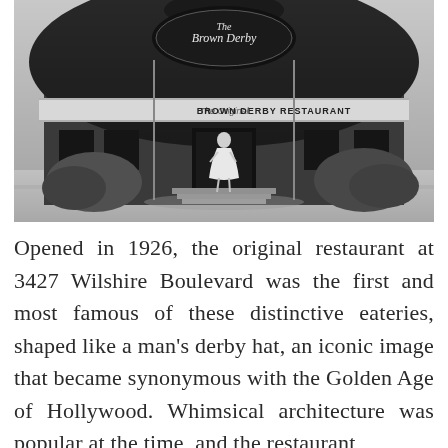[Figure (photo): Black and white photograph of the original Brown Derby Restaurant at 3427 Wilshire Boulevard. The building has a distinctive dome shape with a large sign reading 'The Brown Derby' on top and a banner reading 'The Original BROWN DERBY RESTAURANT'. A woman in a white dress stands at the entrance steps. Bushes flank the entrance.]
Opened in 1926, the original restaurant at 3427 Wilshire Boulevard was the first and most famous of these distinctive eateries, shaped like a man's derby hat, an iconic image that became synonymous with the Golden Age of Hollywood. Whimsical architecture was popular at the time, and the restaurant